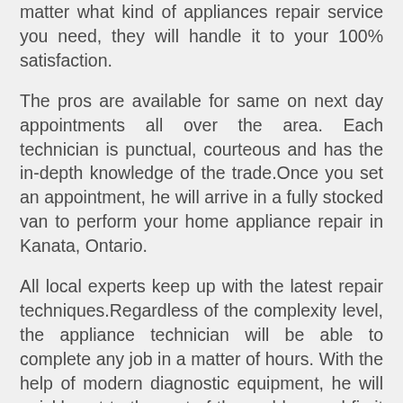matter what kind of appliances repair service you need, they will handle it to your 100% satisfaction.
The pros are available for same on next day appointments all over the area. Each technician is punctual, courteous and has the in-depth knowledge of the trade.Once you set an appointment, he will arrive in a fully stocked van to perform your home appliance repair in Kanata, Ontario.
All local experts keep up with the latest repair techniques.Regardless of the complexity level, the appliance technician will be able to complete any job in a matter of hours. With the help of modern diagnostic equipment, he will quickly get to the root of the problem and fix it right on the spot. In case your unit is beyond repair, he can install a new one.Just drop us a call. Our staff will make sure a laundry or kitchen appliance technician will gladly provide you with an honest assessment on the situation.
If you want to prolong the lifespan of your